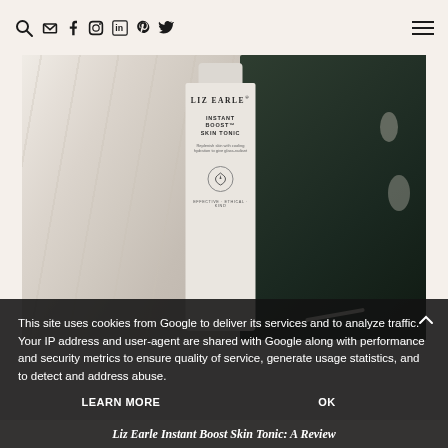Search Email Facebook Instagram LinkedIn Pinterest Twitter Menu
[Figure (photo): Liz Earle Instant Boost Skin Tonic bottle product shot with white silk fabric and dark tropical leaf with holes]
This site uses cookies from Google to deliver its services and to analyze traffic. Your IP address and user-agent are shared with Google along with performance and security metrics to ensure quality of service, generate usage statistics, and to detect and address abuse.
LEARN MORE   OK
Liz Earle Instant Boost Skin Tonic: A Review